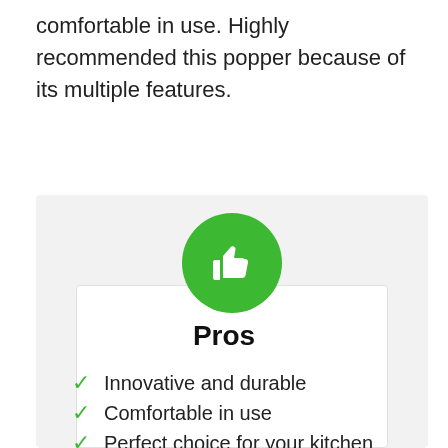comfortable in use. Highly recommended this popper because of its multiple features.
[Figure (infographic): Green circle with white thumbs-up icon above a white card labeled Pros]
Pros
Innovative and durable
Comfortable in use
Perfect choice for your kitchen